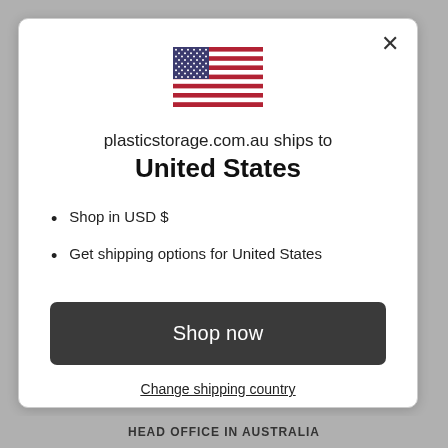[Figure (illustration): US flag SVG illustration]
plasticstorage.com.au ships to United States
Shop in USD $
Get shipping options for United States
Shop now
Change shipping country
HEAD OFFICE IN AUSTRALIA